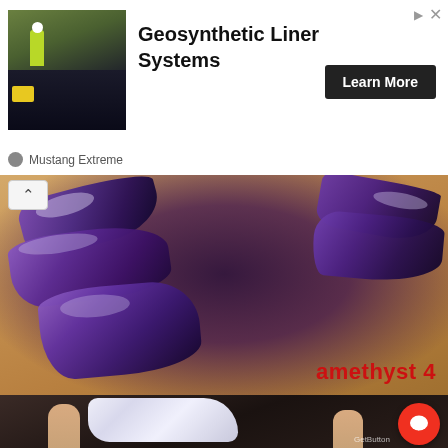[Figure (photo): Advertisement banner for Geosynthetic Liner Systems by Mustang Extreme, showing a worker in high-visibility jacket on a black liner surface with construction equipment]
Geosynthetic Liner Systems
Learn More
Mustang Extreme
[Figure (photo): Photo of multiple purple-dark amethyst crystal points held in an open hand, with text overlay reading 'amethyst 4' in red]
amethyst 4
[Figure (photo): Partial photo of white/clear rough crystal (possibly quartz) held between fingers, with a red chat button overlay and GetButton label]